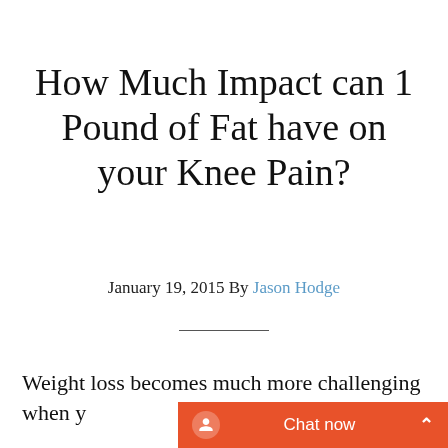How Much Impact can 1 Pound of Fat have on your Knee Pain?
January 19, 2015 By Jason Hodge
Weight loss becomes much more challenging when y…